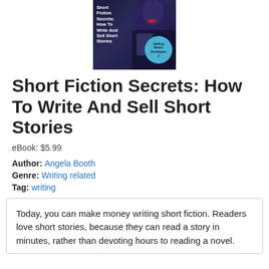[Figure (illustration): Book cover for 'Short Fiction Secrets: How To Write And Sell Short Stories' with dark blue background, white bold text title on left, and a teal circular badge reading 'Selling Writer Strategies 2' on the right. A woman's face is partially visible in the background.]
Short Fiction Secrets: How To Write And Sell Short Stories
eBook: $5.99
Author: Angela Booth
Genre: Writing related
Tag: writing
Today, you can make money writing short fiction. Readers love short stories, because they can read a story in minutes, rather than devoting hours to reading a novel.